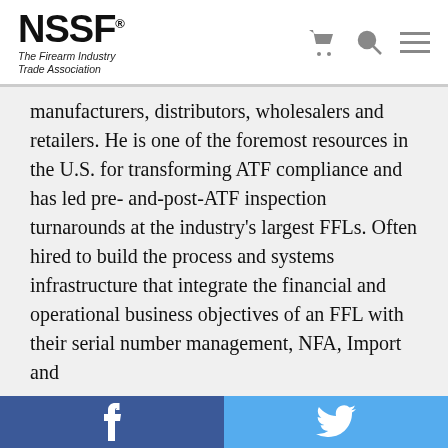NSSF® The Firearm Industry Trade Association
manufacturers, distributors, wholesalers and retailers. He is one of the foremost resources in the U.S. for transforming ATF compliance and has led pre- and-post-ATF inspection turnarounds at the industry's largest FFLs. Often hired to build the process and systems infrastructure that integrate the financial and operational business objectives of an FFL with their serial number management, NFA, Import and
We use cookies to ensure we give you the best experience on our website. By clicking "Accept" or using our website, you consent to the use of cookies unless you have disabled them.
Facebook | Twitter social share footer